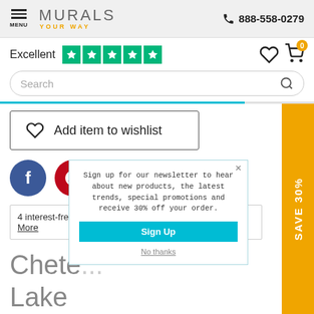MURALS YOUR WAY | 888-558-0279
Excellent ★★★★★
Search
Add item to wishlist
SAVE 30%
4 interest-free payments of $35.54 with Klarna. Learn More
Chete... Lake Map W...
Sign up for our newsletter to hear about new products, the latest trends, special promotions and receive 30% off your order.
Sign Up
No thanks